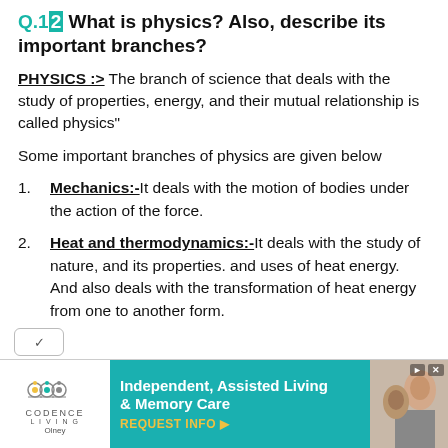Q.12 What is physics? Also, describe its important branches?
PHYSICS :> The branch of science that deals with the study of properties, energy, and their mutual relationship is called physics"
Some important branches of physics are given below
Mechanics:- It deals with the motion of bodies under the action of the force.
Heat and thermodynamics:- It deals with the study of nature, and its properties. and uses of heat energy. And also deals with the transformation of heat energy from one to another form.
[Figure (infographic): Advertisement banner for Codence Living - Independent, Assisted Living & Memory Care with logo and photo of elderly person]